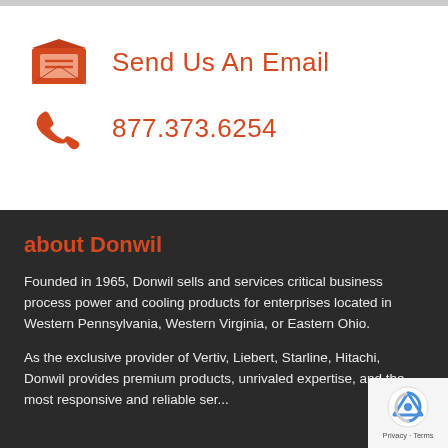Send Us An Email
877.373.6254
about Donwil
Founded in 1965, Donwil sells and services critical business process power and cooling products for enterprises located in Western Pennsylvania, Western Virginia, or Eastern Ohio.
As the exclusive provider of Vertiv, Liebert, Starline, Hitachi, Donwil provides premium products, unrivaled expertise, and the most responsive and reliable service...